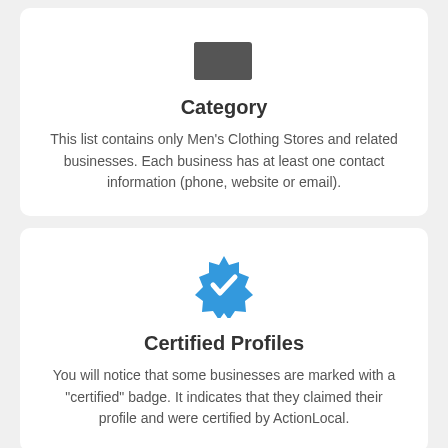[Figure (illustration): Dark grey folder icon]
Category
This list contains only Men's Clothing Stores and related businesses. Each business has at least one contact information (phone, website or email).
[Figure (illustration): Blue verified/certified badge icon with white checkmark]
Certified Profiles
You will notice that some businesses are marked with a "certified" badge. It indicates that they claimed their profile and were certified by ActionLocal.